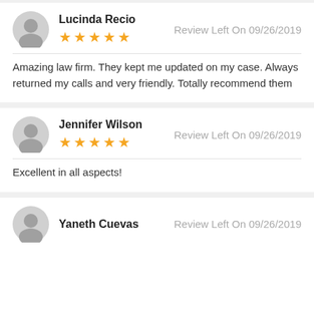Lucinda Recio — Review Left On 09/26/2019 — 5 stars — Amazing law firm. They kept me updated on my case. Always returned my calls and very friendly. Totally recommend them
Jennifer Wilson — Review Left On 09/26/2019 — 5 stars — Excellent in all aspects!
Yaneth Cuevas — Review Left On 09/26/2019